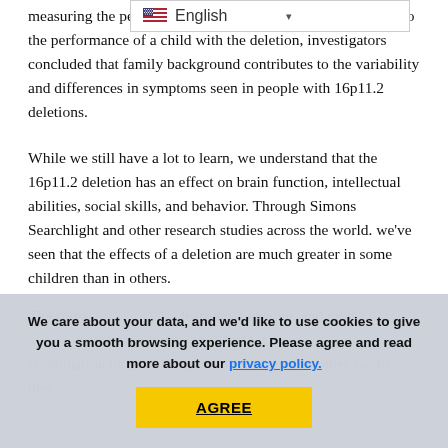measuring the performance and siblings and comparing this to the performance of a child with the deletion, investigators concluded that family background contributes to the variability and differences in symptoms seen in people with 16p11.2 deletions.
While we still have a lot to learn, we understand that the 16p11.2 deletion has an effect on brain function, intellectual abilities, social skills, and behavior. Through Simons Searchlight and other research studies across the world. we've seen that the effects of a deletion are much greater in some children than in others.
The research shows that learning, behavior, and motor skills are determined not just by the 16p11.2 deletion, but by a combination of all of the genes in the body. In other words, they